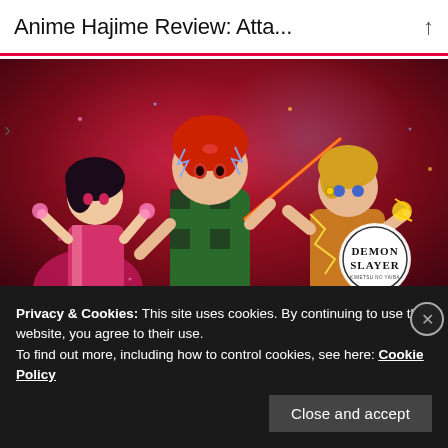Anime Hajime Review: Atta...
[Figure (illustration): Promotional key art for Demon Slayer – Kimetsu no Yaiba featuring three main characters (Nezuko, Tanjiro, and Zenitsu) with the Demon Slayer logo visible on the right side]
Anime Hajime Review: Demon Slayer – Kimetsu no Yaiba Entertainment District Arc
Privacy & Cookies: This site uses cookies. By continuing to use this website, you agree to their use.
To find out more, including how to control cookies, see here: Cookie Policy
Close and accept